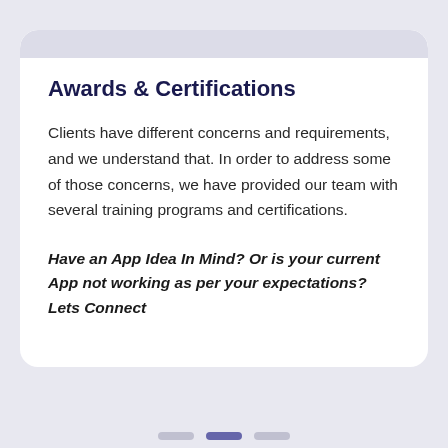Awards & Certifications
Clients have different concerns and requirements, and we understand that. In order to address some of those concerns, we have provided our team with several training programs and certifications.
Have an App Idea In Mind? Or is your current App not working as per your expectations? Lets Connect